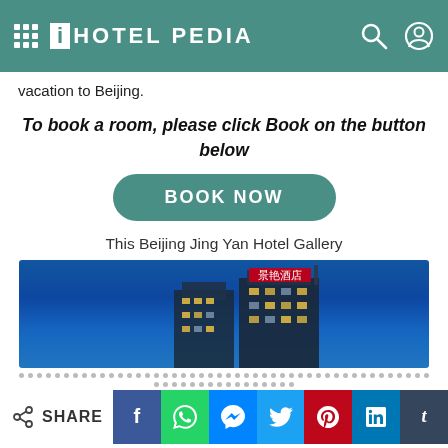iHOTEL PEDIA
vacation to Beijing.
To book a room, please click Book on the button below
[Figure (screenshot): BOOK NOW button - rounded green button with white text]
This Beijing Jing Yan Hotel Gallery
[Figure (photo): Night photo of Beijing Jing Yan Hotel exterior building with illuminated Chinese characters on rooftop against blue sky]
SHARE - Facebook, WhatsApp, Messenger, Twitter, Pinterest, LinkedIn, Tumblr share buttons